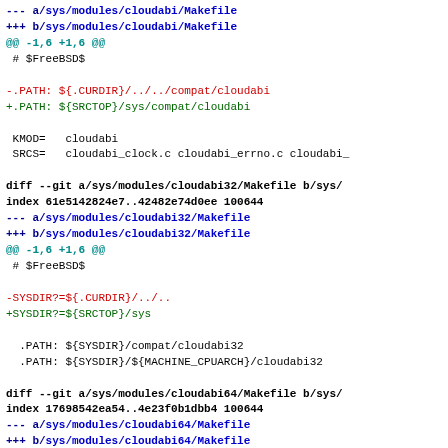--- a/sys/modules/cloudabi/Makefile
+++ b/sys/modules/cloudabi/Makefile
@@ -1,6 +1,6 @@
 # $FreeBSD$

-.PATH: ${.CURDIR}/../../compat/cloudabi
+.PATH: ${SRCTOP}/sys/compat/cloudabi

 KMOD=   cloudabi
 SRCS=   cloudabi_clock.c cloudabi_errno.c cloudabi_

diff --git a/sys/modules/cloudabi32/Makefile b/sys/
index 61e5142824e7..42482e74d0ee 100644
--- a/sys/modules/cloudabi32/Makefile
+++ b/sys/modules/cloudabi32/Makefile
@@ -1,6 +1,6 @@
 # $FreeBSD$

-SYSDIR?=${.CURDIR}/../..
+SYSDIR?=${SRCTOP}/sys

  .PATH: ${SYSDIR}/compat/cloudabi32
  .PATH: ${SYSDIR}/${MACHINE_CPUARCH}/cloudabi32

diff --git a/sys/modules/cloudabi64/Makefile b/sys/
index 17698542ea54..4e23f0b1dbb4 100644
--- a/sys/modules/cloudabi64/Makefile
+++ b/sys/modules/cloudabi64/Makefile
@@ -1,6 +1,6 @@
 # $FreeBSD$